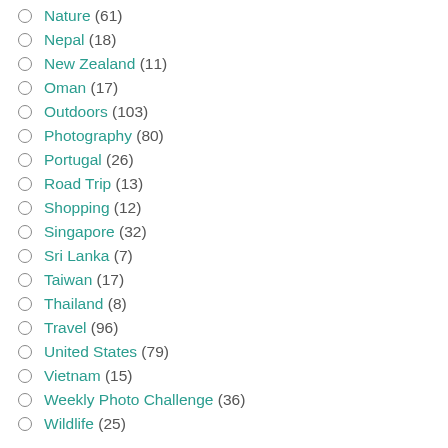Nature (61)
Nepal (18)
New Zealand (11)
Oman (17)
Outdoors (103)
Photography (80)
Portugal (26)
Road Trip (13)
Shopping (12)
Singapore (32)
Sri Lanka (7)
Taiwan (17)
Thailand (8)
Travel (96)
United States (79)
Vietnam (15)
Weekly Photo Challenge (36)
Wildlife (25)